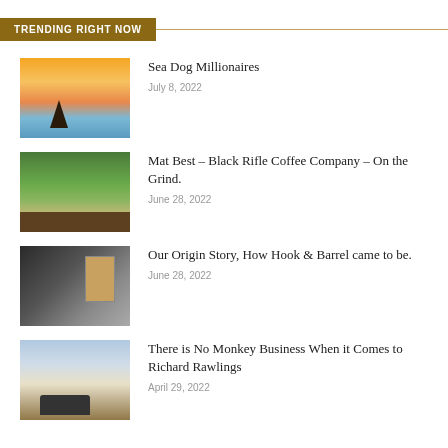TRENDING RIGHT NOW
Sea Dog Millionaires
Mat Best – Black Rifle Coffee Company – On the Grind.
Our Origin Story, How Hook & Barrel came to be.
There is No Monkey Business When it Comes to Richard Rawlings